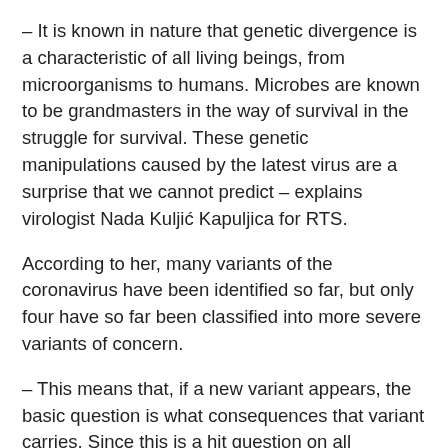– It is known in nature that genetic divergence is a characteristic of all living beings, from microorganisms to humans. Microbes are known to be grandmasters in the way of survival in the struggle for survival. These genetic manipulations caused by the latest virus are a surprise that we cannot predict – explains virologist Nada Kuljić Kapuljica for RTS.
According to her, many variants of the coronavirus have been identified so far, but only four have so far been classified into more severe variants of concern.
– This means that, if a new variant appears, the basic question is what consequences that variant carries. Since this is a hit question on all televisions, the questions are whether this new strain that has appeared, whether it causes a more serious disease, higher mortality, whether the vaccine will be effective, whether it is transmitted